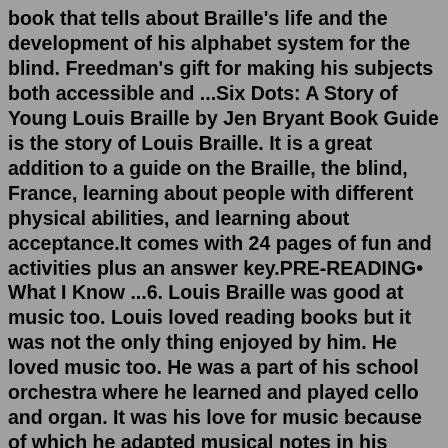book that tells about Braille's life and the development of his alphabet system for the blind. Freedman's gift for making his subjects both accessible and ...Six Dots: A Story of Young Louis Braille by Jen Bryant Book Guide is the story of Louis Braille. It is a great addition to a guide on the Braille, the blind, France, learning about people with different physical abilities, and learning about acceptance.It comes with 24 pages of fun and activities plus an answer key.PRE-READING• What I Know ...6. Louis Braille was good at music too. Louis loved reading books but it was not the only thing enjoyed by him. He loved music too. He was a part of his school orchestra where he learned and played cello and organ. It was his love for music because of which he adapted musical notes in his system of Braille.Louis Braille was born on January 4, 1809, in Cupfrey, a small village 32 kilometers from Paris. He is the youngest of 4 children, son of Simon-Rene´Braille and Monique Baron. Louis was not born blind but started getting blind gradually at 3...